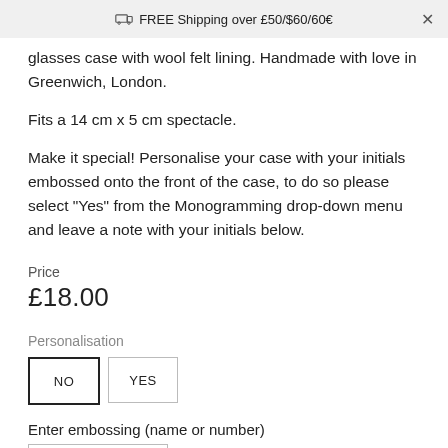FREE Shipping over £50/$60/60€
glasses case with wool felt lining. Handmade with love in Greenwich, London.
Fits a 14 cm x 5 cm spectacle.
Make it special! Personalise your case with your initials embossed onto the front of the case, to do so please select "Yes" from the Monogramming drop-down menu and leave a note with your initials below.
Price
£18.00
Personalisation
NO   YES
Enter embossing (name or number)